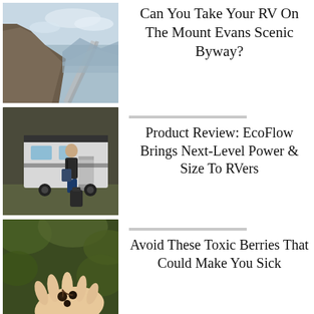[Figure (photo): Mountain road scenic view with rocky cliffs and blue sky]
Can You Take Your RV On The Mount Evans Scenic Byway?
[Figure (photo): Man standing next to an RV travel trailer with luggage]
Product Review: EcoFlow Brings Next-Level Power & Size To RVers
[Figure (photo): Hand holding small dark berries with foliage background]
Avoid These Toxic Berries That Could Make You Sick